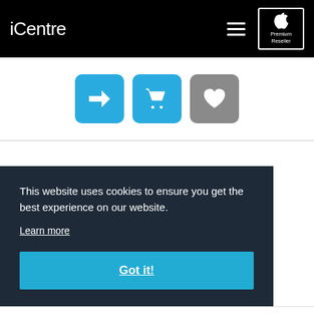iCentre — Apple Premium Reseller navigation bar
[Figure (screenshot): Three action icon buttons: blue arrow/forward button, blue shopping cart button, gray heart/wishlist button]
This website uses cookies to ensure you get the best experience on our website. Learn more Got it!